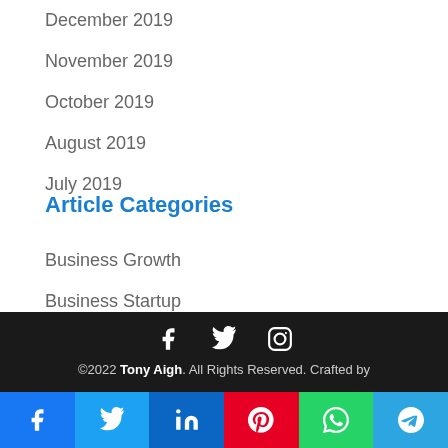December 2019
November 2019
October 2019
August 2019
July 2019
Article Categories
Business Growth
Business Startup
Uncategorized
©2022 Tony Aigh. All Rights Reserved. Crafted by